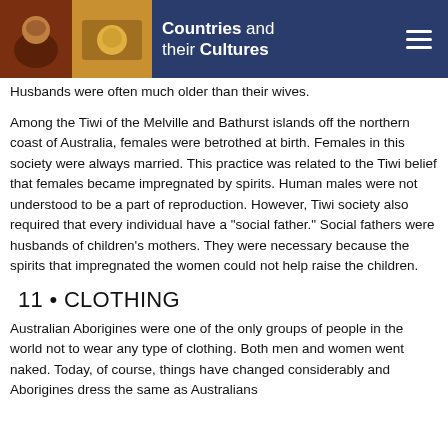Countries and their Cultures
Husbands were often much older than their wives.
Among the Tiwi of the Melville and Bathurst islands off the northern coast of Australia, females were betrothed at birth. Females in this society were always married. This practice was related to the Tiwi belief that females became impregnated by spirits. Human males were not understood to be a part of reproduction. However, Tiwi society also required that every individual have a "social father." Social fathers were husbands of children's mothers. They were necessary because the spirits that impregnated the women could not help raise the children.
11 • CLOTHING
Australian Aborigines were one of the only groups of people in the world not to wear any type of clothing. Both men and women went naked. Today, of course, things have changed considerably and Aborigines dress the same as Australians